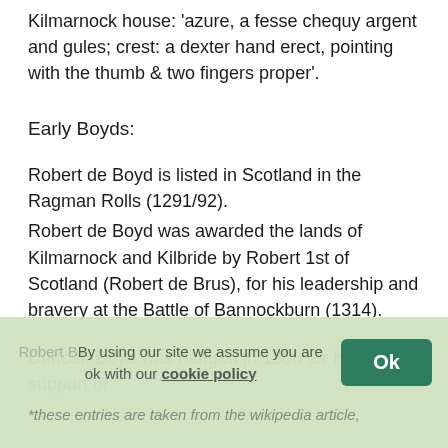Kilmarnock house: 'azure, a fesse chequy argent and gules; crest: a dexter hand erect, pointing with the thumb & two fingers proper'.
Early Boyds:
Robert de Boyd is listed in Scotland in the Ragman Rolls (1291/92).
Robert de Boyd was awarded the lands of Kilmarnock and Kilbride by Robert 1st of Scotland (Robert de Brus), for his leadership and bravery at the Battle of Bannockburn (1314).
Duncan Boyd was hanged in 1306 for his support of Robert B...
*these entries are taken from the wikipedia article,